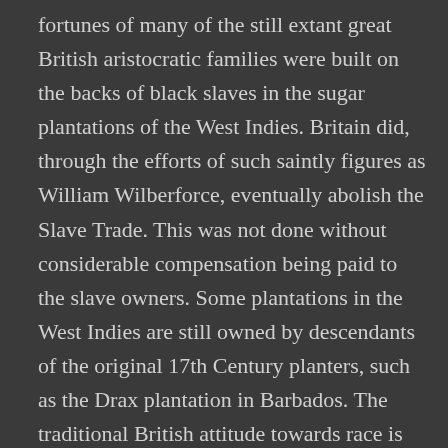fortunes of many of the still extant great British aristocratic families were built on the backs of black slaves in the sugar plantations of the West Indies. Britain did, through the efforts of such saintly figures as William Wilberforce, eventually abolish the Slave Trade. This was not done without considerable compensation being paid to the slave owners. Some plantations in the West Indies are still owned by descendants of the original 17th Century planters, such as the Drax plantation in Barbados. The traditional British attitude towards race is hypocritical. Take for instance John Masters swansong to the Raj, 'Bhowani Junction'. In it he denigrates members of the mixed race Anglo-Indian community. Ironically, towards the end of his life, he found out that he should really have been classified a...